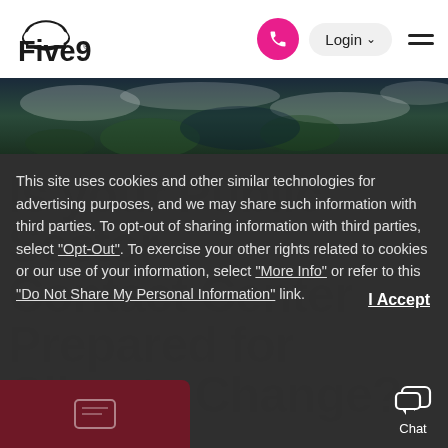[Figure (logo): Five9 logo with cloud icon]
[Figure (photo): Aerial/satellite view of Earth with clouds and green landmass]
Is your Public Sector Contact Center Prepared for Climate Change?
This site uses cookies and other similar technologies for advertising purposes, and we may share such information with third parties. To opt-out of sharing information with third parties, select "Opt-Out". To exercise your other rights related to cookies or our use of your information, select "More Info" or refer to this "Do Not Share My Personal Information" link.
I Accept
[Figure (screenshot): Chat icon with speech bubbles]
Chat